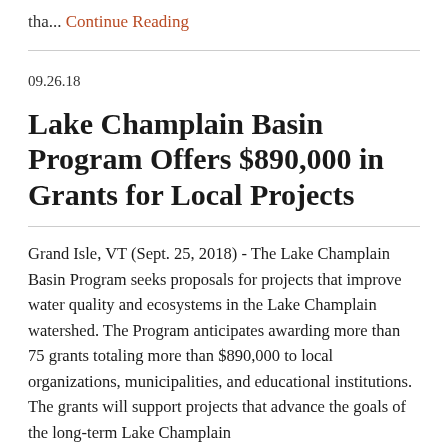tha... Continue Reading
09.26.18
Lake Champlain Basin Program Offers $890,000 in Grants for Local Projects
Grand Isle, VT (Sept. 25, 2018) - The Lake Champlain Basin Program seeks proposals for projects that improve water quality and ecosystems in the Lake Champlain watershed. The Program anticipates awarding more than 75 grants totaling more than $890,000 to local organizations, municipalities, and educational institutions. The grants will support projects that advance the goals of the long-term Lake Champlain